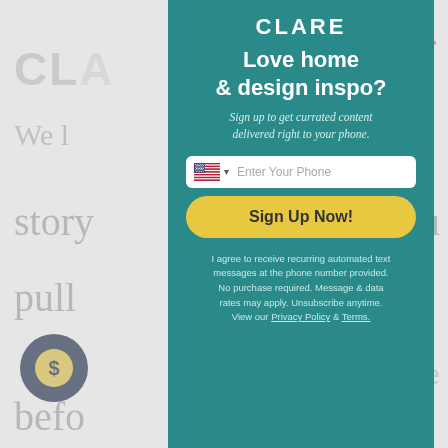[Figure (screenshot): Background webpage showing Clare paint brand website with greyed out content behind a modal popup overlay]
CLARE
Love home & design inspo?
Sign up to get currated content delivered right to your phone.
Enter Your Phone
Sign Up Now!
I agree to receive recurring automated text messages at the phone number provided. No purchase required. Message & data rates may apply. Unsubscribe anytime. View our Privacy Policy & Terms.